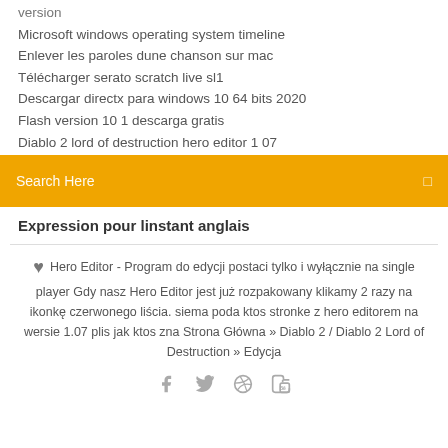version
Microsoft windows operating system timeline
Enlever les paroles dune chanson sur mac
Télécharger serato scratch live sl1
Descargar directx para windows 10 64 bits 2020
Flash version 10 1 descarga gratis
Diablo 2 lord of destruction hero editor 1 07
Search Here
Expression pour linstant anglais
Hero Editor - Program do edycji postaci tylko i wyłącznie na single player Gdy nasz Hero Editor jest już rozpakowany klikamy 2 razy na ikonkę czerwonego liścia. siema poda ktos stronke z hero editorem na wersie 1.07 plis jak ktos zna Strona Główna » Diablo 2 / Diablo 2 Lord of Destruction » Edycja
[Figure (infographic): Social media icons: Facebook, Twitter, Dribbble, Behance]